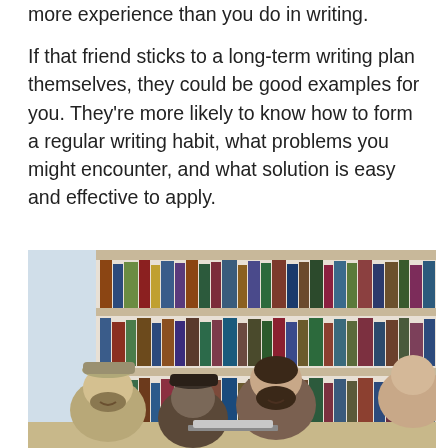more experience than you do in writing.
If that friend sticks to a long-term writing plan themselves, they could be good examples for you. They're more likely to know how to form a regular writing habit, what problems you might encounter, and what solution is easy and effective to apply.
[Figure (photo): Group of young people studying together at a table in a library with bookshelves full of books in the background. Several people are leaning over what appears to be a laptop or book, smiling and engaged.]